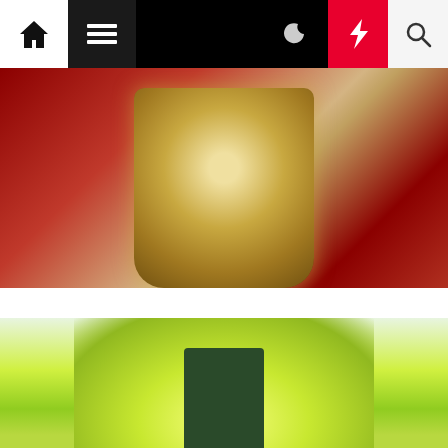Navigation bar with home, menu, dark mode, lightning, and search icons
[Figure (photo): Close-up photo of a glittery/sparkly cup or container against a red wooden background]
Diet and Weight loss
Kim Kardashian is slammed after admitting she followed a crash diet t…
Lena Weib  4 months ago
[Figure (photo): Blurred photo of yellow flowers and green foliage at the bottom of the page]